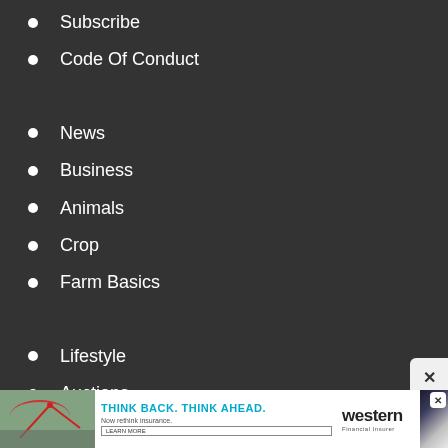Subscribe
Code Of Conduct
News
Business
Animals
Crop
Farm Basics
Lifestyle
Auctions
[Figure (screenshot): Advertisement banner: Think Back. Think Ahead. Now rethink insurance. western Financial Insurer. Learn More button. Photo of irrigation pivot in field.]